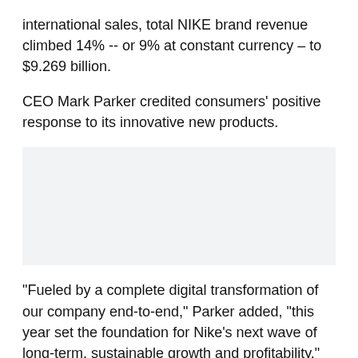international sales, total NIKE brand revenue climbed 14% -- or 9% at constant currency – to $9.269 billion.
CEO Mark Parker credited consumers' positive response to its innovative new products.
[Figure (other): Gray placeholder box, likely an image or advertisement area.]
"Fueled by a complete digital transformation of our company end-to-end," Parker added, "this year set the foundation for Nike's next wave of long-term, sustainable growth and profitability."
Now what
If that wasn't enough, Nike also authorized a new four-year,